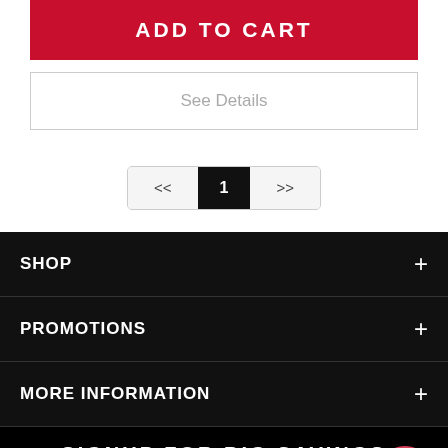ADD TO CART
See Details
<< 1 >>
SHOP +
PROMOTIONS +
MORE INFORMATION +
SIGNUP FOR BIG SAVINGS